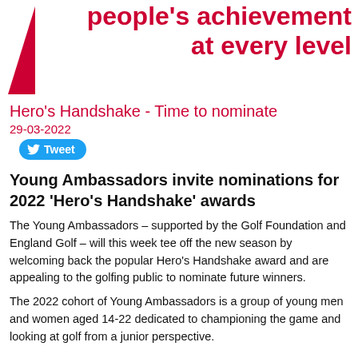people's achievement at every level
Hero's Handshake - Time to nominate
29-03-2022
Tweet
Young Ambassadors invite nominations for 2022 'Hero's Handshake' awards
The Young Ambassadors – supported by the Golf Foundation and England Golf – will this week tee off the new season by welcoming back the popular Hero's Handshake award and are appealing to the golfing public to nominate future winners.
The 2022 cohort of Young Ambassadors is a group of young men and women aged 14-22 dedicated to championing the game and looking at golf from a junior perspective.